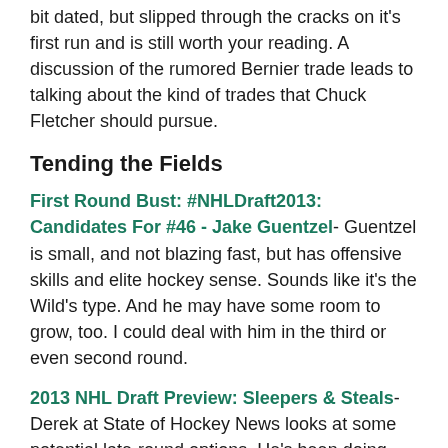bit dated, but slipped through the cracks on it's first run and is still worth your reading. A discussion of the rumored Bernier trade leads to talking about the kind of trades that Chuck Fletcher should pursue.
Tending the Fields
First Round Bust: #NHLDraft2013: Candidates For #46 - Jake Guentzel- Guentzel is small, and not blazing fast, but has offensive skills and elite hockey sense. Sounds like it's the Wild's type. And he may have some room to grow, too. I could deal with him in the third or even second round.
2013 NHL Draft Preview: Sleepers & Steals- Derek at State of Hockey News looks at some potential late-round options. He's been doing really well with his draft coverage this offseason.